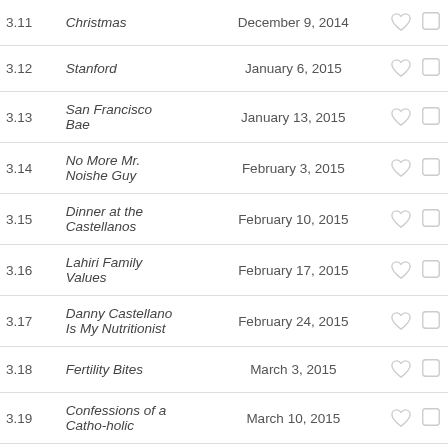| # | Title | Date | Icons |
| --- | --- | --- | --- |
| 3.11 | Christmas | December 9, 2014 | ♡ □ |
| 3.12 | Stanford | January 6, 2015 | ♡ □ |
| 3.13 | San Francisco Bae | January 13, 2015 | ♡ □ |
| 3.14 | No More Mr. Noishe Guy | February 3, 2015 | ♡ □ |
| 3.15 | Dinner at the Castellanos | February 10, 2015 | ♡ □ |
| 3.16 | Lahiri Family Values | February 17, 2015 | ♡ □ |
| 3.17 | Danny Castellano Is My Nutritionist | February 24, 2015 | ♡ □ |
| 3.18 | Fertility Bites | March 3, 2015 | ♡ □ |
| 3.19 | Confessions of a Catho-holic | March 10, 2015 | ♡ □ |
| 3.20 | What to Expect When You're... | March 17, 2015 | ♡ □ |